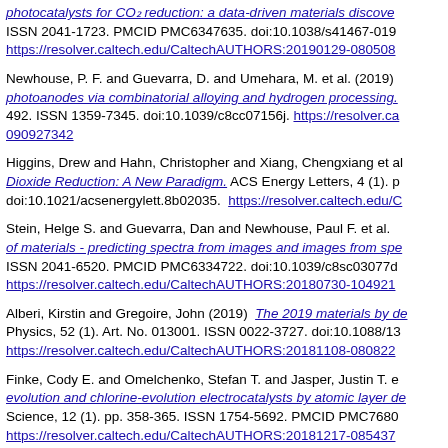photocatalysts for CO₂ reduction: a data-driven materials discovery. ISSN 2041-1723. PMCID PMC6347635. doi:10.1038/s41467-019 https://resolver.caltech.edu/CaltechAUTHORS:20190129-080508
Newhouse, P. F. and Guevarra, D. and Umehara, M. et al. (2019) photoanodes via combinatorial alloying and hydrogen processing. 492. ISSN 1359-7345. doi:10.1039/c8cc07156j. https://resolver.caltech.edu/ 090927342
Higgins, Drew and Hahn, Christopher and Xiang, Chengxiang et al. Dioxide Reduction: A New Paradigm. ACS Energy Letters, 4 (1). doi:10.1021/acsenergylett.8b02035. https://resolver.caltech.edu/C
Stein, Helge S. and Guevarra, Dan and Newhouse, Paul F. et al. of materials - predicting spectra from images and images from spectra. ISSN 2041-6520. PMCID PMC6334722. doi:10.1039/c8sc03077d https://resolver.caltech.edu/CaltechAUTHORS:20180730-104921
Alberi, Kirstin and Gregoire, John (2019) The 2019 materials by design. Physics, 52 (1). Art. No. 013001. ISSN 0022-3727. doi:10.1088/13 https://resolver.caltech.edu/CaltechAUTHORS:20181108-080822
Finke, Cody E. and Omelchenko, Stefan T. and Jasper, Justin T. evolution and chlorine-evolution electrocatalysts by atomic layer deposition. Science, 12 (1). pp. 358-365. ISSN 1754-5692. PMCID PMC7680 https://resolver.caltech.edu/CaltechAUTHORS:20181217-085437
Liu, Guiji and Eichhorn, Johanna and Jiang, Chang-Ming et al. (20 water oxidation: unravelling the passivating and catalytic mechanism